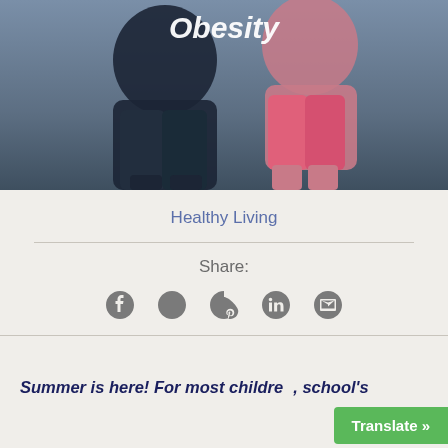[Figure (photo): Two children from behind, one wearing dark shorts and one wearing pink shorts, running or playing outdoors. The word 'Obesity' appears in white italic bold text overlaid at the top of the image.]
Obesity
Healthy Living
Share:
[Figure (infographic): Social sharing icons in a row: Facebook, Twitter, Pinterest, LinkedIn, Email]
Summer is here! For most children, school's